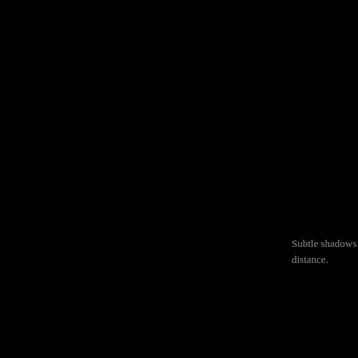Subtle shadows and vibrant blues and mou distance.